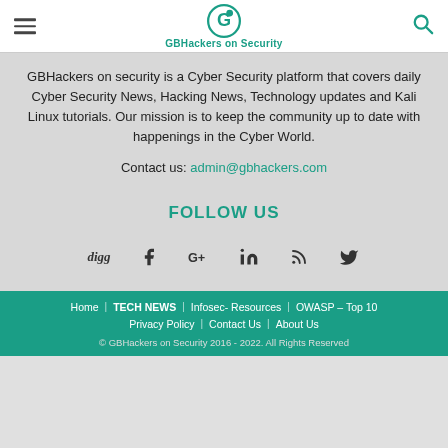GBHackers on Security
GBHackers on security is a Cyber Security platform that covers daily Cyber Security News, Hacking News, Technology updates and Kali Linux tutorials. Our mission is to keep the community up to date with happenings in the Cyber World.
Contact us: admin@gbhackers.com
FOLLOW US
[Figure (infographic): Row of social media icons: digg, Facebook, Google+, LinkedIn, RSS, Twitter]
Home | TECH NEWS | Infosec- Resources | OWASP – Top 10 | Privacy Policy | Contact Us | About Us | © GBHackers on Security 2016 - 2022. All Rights Reserved